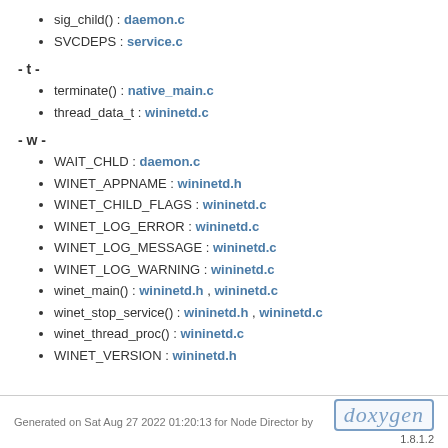sig_child() : daemon.c
SVCDEPS : service.c
- t -
terminate() : native_main.c
thread_data_t : wininetd.c
- w -
WAIT_CHLD : daemon.c
WINET_APPNAME : wininetd.h
WINET_CHILD_FLAGS : wininetd.c
WINET_LOG_ERROR : wininetd.c
WINET_LOG_MESSAGE : wininetd.c
WINET_LOG_WARNING : wininetd.c
winet_main() : wininetd.h , wininetd.c
winet_stop_service() : wininetd.h , wininetd.c
winet_thread_proc() : wininetd.c
WINET_VERSION : wininetd.h
Generated on Sat Aug 27 2022 01:20:13 for Node Director by doxygen 1.8.1.2